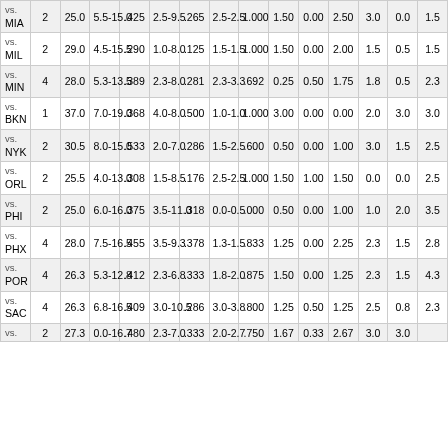| Opponent | G | MP | FG-FGA | FG% | 3P-3PA | 3P% | FT-FTA | FT% | ORB | DRB | REB | AST | STL | PTS |
| --- | --- | --- | --- | --- | --- | --- | --- | --- | --- | --- | --- | --- | --- | --- |
| vs. MIA | 2 | 25.0 | 5.5-15.0 | .425 | 2.5-9.5 | .265 | 2.5-2.5 | 1.000 | 1.50 | 0.00 | 2.50 | 3.0 | 0.0 | 1.5 |
| vs. MIL | 2 | 29.0 | 4.5-15.5 | .290 | 1.0-8.0 | .125 | 1.5-1.5 | 1.000 | 1.50 | 0.00 | 2.00 | 1.5 | 0.5 | 1.5 |
| vs. MIN | 4 | 28.0 | 5.3-13.5 | .389 | 2.3-8.0 | .281 | 2.3-3.3 | .692 | 0.25 | 0.50 | 1.75 | 1.8 | 0.5 | 2.3 |
| vs. BKN | 1 | 37.0 | 7.0-19.0 | .368 | 4.0-8.0 | .500 | 1.0-1.0 | 1.000 | 3.00 | 0.00 | 0.00 | 2.0 | 3.0 | 3.0 |
| vs. NYK | 2 | 30.5 | 8.0-15.0 | .533 | 2.0-7.0 | .286 | 1.5-2.5 | .600 | 0.50 | 0.00 | 1.00 | 3.0 | 1.5 | 2.5 |
| vs. ORL | 2 | 25.5 | 4.0-13.0 | .308 | 1.5-8.5 | .176 | 2.5-2.5 | 1.000 | 1.50 | 1.00 | 1.50 | 0.0 | 0.0 | 2.5 |
| vs. PHI | 2 | 25.0 | 6.0-16.0 | .375 | 3.5-11.0 | .318 | 0.0-0.5 | .000 | 0.50 | 0.00 | 1.00 | 1.0 | 2.0 | 3.5 |
| vs. PHX | 4 | 28.0 | 7.5-16.5 | .455 | 3.5-9.3 | .378 | 1.3-1.5 | .833 | 1.25 | 0.00 | 2.25 | 2.3 | 1.5 | 2.8 |
| vs. POR | 4 | 26.3 | 5.3-12.8 | .412 | 2.3-6.8 | .333 | 1.8-2.0 | .875 | 1.50 | 0.00 | 1.25 | 2.3 | 1.5 | 4.3 |
| vs. SAC | 4 | 26.3 | 6.8-16.5 | .409 | 3.0-10.5 | .286 | 3.0-3.8 | .800 | 1.25 | 0.50 | 1.25 | 2.5 | 0.8 | 2.3 |
| vs. ??? | 2 | 27.3 | 0.0-16.7 | .480 | 2.3-7.0 | .333 | 2.0-2.7 | .750 | 1.67 | 0.33 | 2.67 | 3.0 | 3.0 |  |